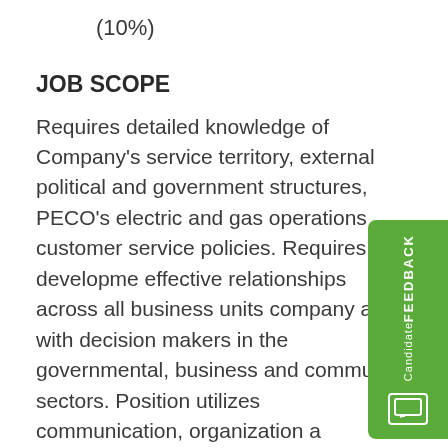(10%)
JOB SCOPE
Requires detailed knowledge of Company's service territory, external political and government structures, PECO's electric and gas operations customer service policies. Requires development effective relationships across all business units company and with decision makers in the governmental, business and community sectors. Position utilizes communication, organization and facilitation skills. High degree of confidentiality is associated with the position. Work involves a moderate degree of independent decision-making, creativity, flexibility and ability to respond to emergencies on a 24/7 basis, as needed, and to